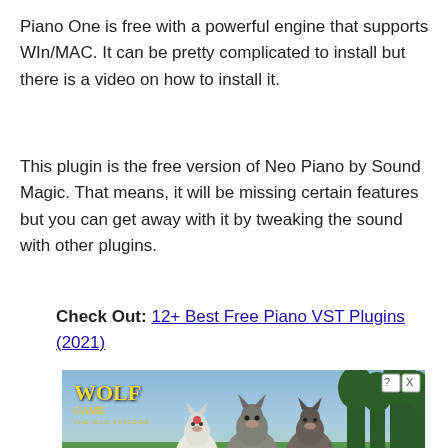Piano One is free with a powerful engine that supports WIn/MAC. It can be pretty complicated to install but there is a video on how to install it.
This plugin is the free version of Neo Piano by Sound Magic. That means, it will be missing certain features but you can get away with it by tweaking the sound with other plugins.
Check Out: 12+ Best Free Piano VST Plugins (2021)
[Figure (photo): Advertisement banner for Wolf Game: The Wild Kingdom showing wolves in a meadow with trees, text reading 'THE HUNT IS ON!']